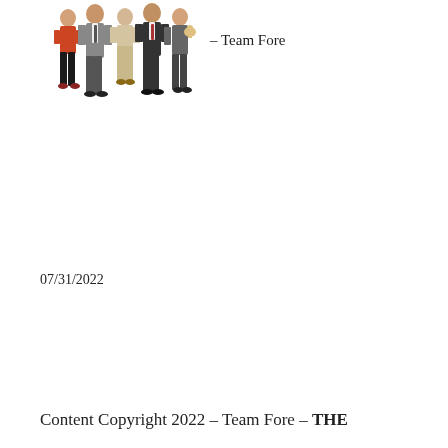[Figure (illustration): A group of five business people standing together, wearing professional attire (suits, dress clothes). They appear to be a team photo cutout on white background.]
– Team Fore
07/31/2022
Content Copyright 2022 – Team Fore – THE